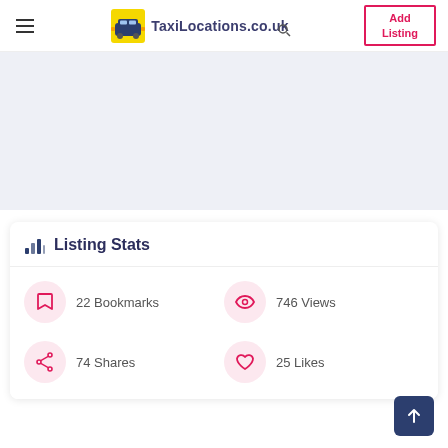TaxiLocations.co.uk | Add Listing
[Figure (screenshot): Gray advertisement placeholder area]
Listing Stats
22 Bookmarks
746 Views
74 Shares
25 Likes